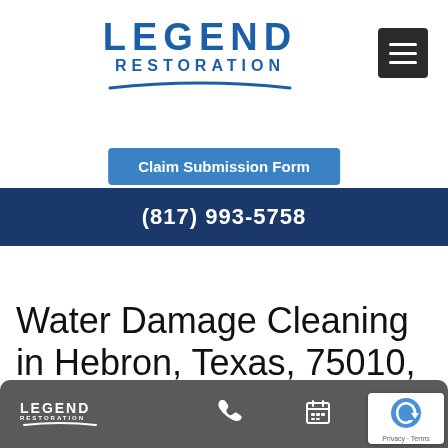[Figure (logo): Legend Restoration logo with blue text and arc underline]
[Figure (other): Hamburger/menu icon button (dark gray square with three white lines)]
Claim Submission Form
(817) 993-5758
Water Damage Cleaning in Hebron, Texas, 75010, (817) 769-7232
[Figure (logo): Legend Restoration small logo in bottom bar, with phone icon and calendar icon]
[Figure (other): Google reCAPTCHA badge, Privacy · Terms]